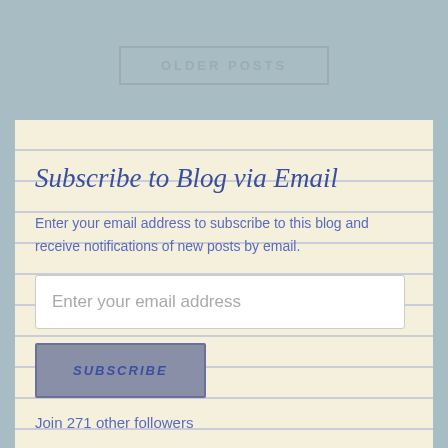[Figure (screenshot): Older Posts button — a rectangular outlined button with text OLDER POSTS on a blue-grey background]
Subscribe to Blog via Email
Enter your email address to subscribe to this blog and receive notifications of new posts by email.
[Figure (screenshot): Email address input field with placeholder text 'Enter your email address']
[Figure (screenshot): SUBSCRIBE button in grey with blue border]
Join 271 other followers